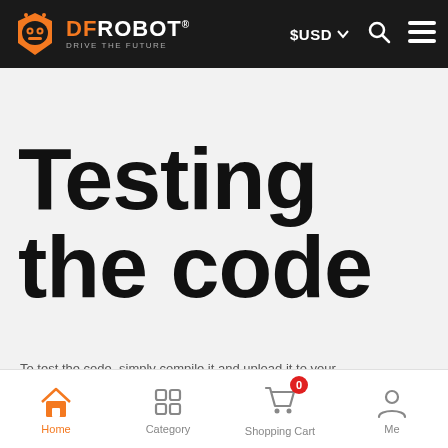[Figure (screenshot): DFRobot website navigation bar with orange robot logo, DFROBOT brand name, $USD currency selector, search icon, and hamburger menu icon on black background]
Testing the code
To test the code, simply compile it and upload it to your...
[Figure (screenshot): Mobile bottom navigation tab bar with Home (orange active), Category, Shopping Cart (with 0 badge), and Me icons]